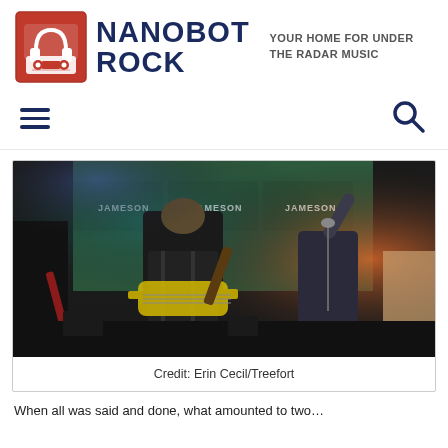NANOBOT ROCK — YOUR HOME FOR UNDER THE RADAR MUSIC
[Figure (photo): Concert photo of a band performing live on stage. Multiple musicians visible playing guitars and singing, with Jameson whiskey banner in the background and colorful stage lighting.]
Credit: Erin Cecil/Treefort
When all was said and done, what amounted to two...